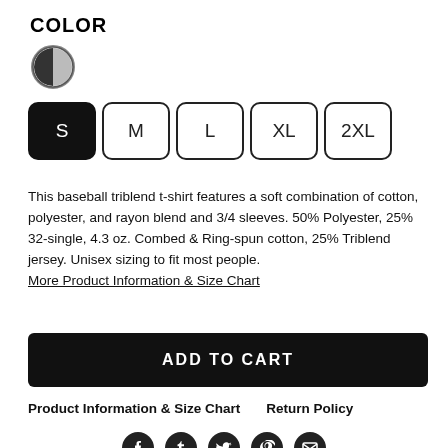COLOR
[Figure (other): Color swatch circle showing dark/black-gray color with circular border]
S (selected)
M
L
XL
2XL
This baseball triblend t-shirt features a soft combination of cotton, polyester, and rayon blend and 3/4 sleeves. 50% Polyester, 25% 32-single, 4.3 oz. Combed & Ring-spun cotton, 25% Triblend jersey. Unisex sizing to fit most people.
More Product Information & Size Chart
ADD TO CART
Product Information & Size Chart   Return Policy
[Figure (other): Social media icons row: Facebook, Tumblr, Twitter, Pinterest, Email]